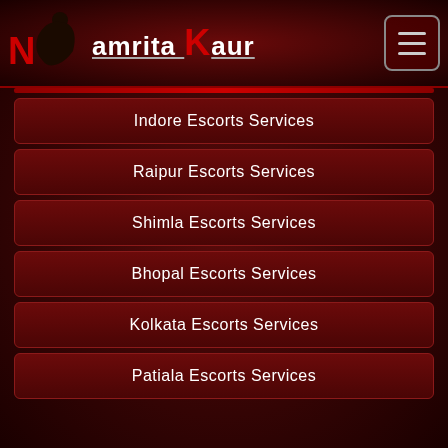[Figure (logo): Namrita Kaur website logo with silhouette figure and red stylized N and K letters]
Indore Escorts Services
Raipur Escorts Services
Shimla Escorts Services
Bhopal Escorts Services
Kolkata Escorts Services
Patiala Escorts Services